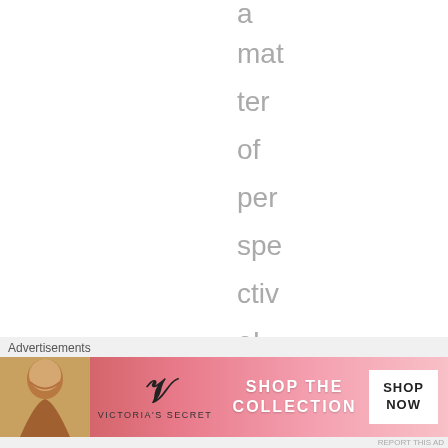a mat ter of per spe ctiv e!
★ Liked by 1 person
Reply ↓
Advertisements
[Figure (photo): Victoria's Secret advertisement banner with woman model, VS logo, 'SHOP THE COLLECTION' text, and 'SHOP NOW' button]